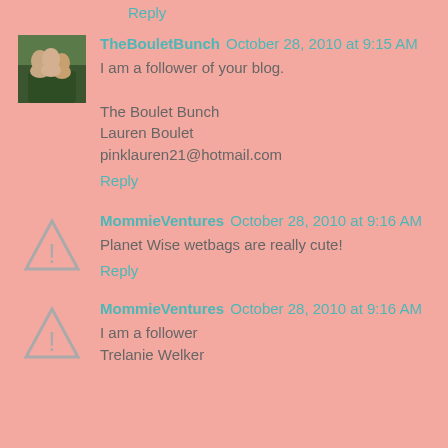Reply
[Figure (photo): Profile photo of TheBouletBunch — group photo of people]
TheBouletBunch  October 28, 2010 at 9:15 AM
I am a follower of your blog.

The Boulet Bunch
Lauren Boulet
pinklauren21@hotmail.com
Reply
[Figure (illustration): Warning triangle icon with exclamation mark — placeholder avatar for MommieVentures]
MommieVentures  October 28, 2010 at 9:16 AM
Planet Wise wetbags are really cute!
Reply
[Figure (illustration): Warning triangle icon with exclamation mark — placeholder avatar for MommieVentures]
MommieVentures  October 28, 2010 at 9:16 AM
I am a follower
Trelanie Welker